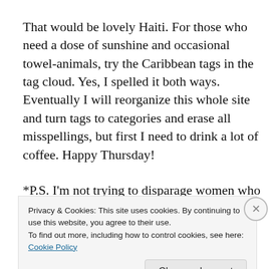That would be lovely Haiti.  For those who need a dose of sunshine and occasional towel-animals, try the Caribbean tags in the tag cloud.  Yes, I spelled it both ways.  Eventually I will reorganize this whole site and turn tags to categories and erase all misspellings, but first I need to drink a lot of coffee.  Happy Thursday!
*P.S.  I'm not trying to disparage women who are naturally thin...
Privacy & Cookies: This site uses cookies. By continuing to use this website, you agree to their use.
To find out more, including how to control cookies, see here: Cookie Policy